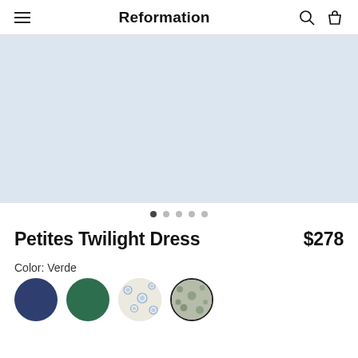Reformation
[Figure (photo): Light blue/grey product image placeholder area for Petites Twilight Dress]
• • • • •  (carousel dots, first active)
Petites Twilight Dress
$278
Color: Verde
[Figure (illustration): Four color swatches: navy blue circle, dark green circle, floral print circle, verde/sage floral print circle with border (selected)]